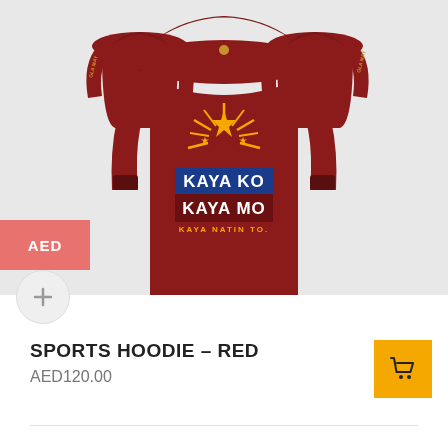[Figure (photo): Red sports hoodie product photo showing front zip-up views (top row) and a back view center showing 'KAYA KO KAYA MO KAYA NATIN TO' text with Philippine sun and stars graphic on the back. Gray background. AED badge overlay on left side.]
SPORTS HOODIE – RED
AED120.00